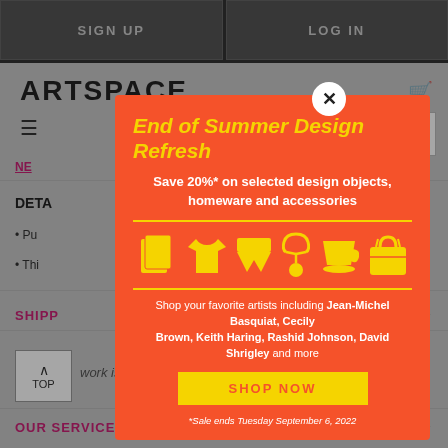SIGN UP | LOG IN
[Figure (screenshot): Artspace website background showing logo, hamburger menu, search box, navigation links, DETAILS section with bullet points, SHIPPING section, and OUR SERVICES section]
[Figure (infographic): Promotional modal popup with orange background. Title: End of Summer Design Refresh. Subtitle: Save 20%* on selected design objects, homeware and accessories. Icons of various design products (pages, t-shirt, shorts, necklace, cup, bag) in yellow. Body text: Shop your favorite artists including Jean-Michel Basquiat, Cecily Brown, Keith Haring, Rashid Johnson, David Shrigley and more. SHOP NOW button. Footnote: *Sale ends Tuesday September 6, 2022]
*Sale ends Tuesday September 6, 2022